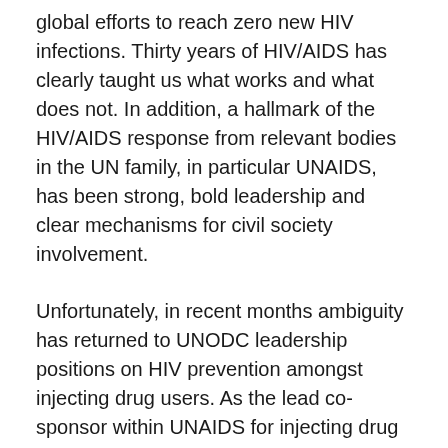global efforts to reach zero new HIV infections. Thirty years of HIV/AIDS has clearly taught us what works and what does not. In addition, a hallmark of the HIV/AIDS response from relevant bodies in the UN family, in particular UNAIDS, has been strong, bold leadership and clear mechanisms for civil society involvement.
Unfortunately, in recent months ambiguity has returned to UNODC leadership positions on HIV prevention amongst injecting drug users. As the lead co-sponsor within UNAIDS for injecting drug use and prisons it is crucial that UNODC provides strong, unambiguous, leadership on opioid substitution therapy and needle and syringe programmes and makes clear its commitment to them.